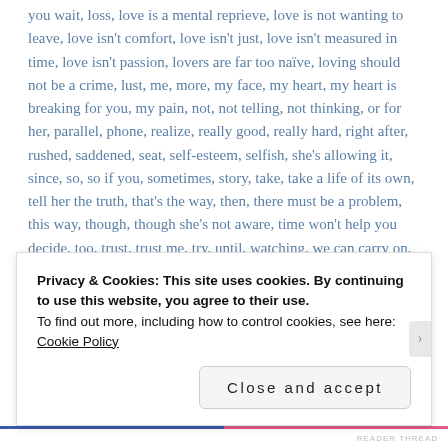you wait, loss, love is a mental reprieve, love is not wanting to leave, love isn't comfort, love isn't just, love isn't measured in time, love isn't passion, lovers are far too naïve, loving should not be a crime, lust, me, more, my face, my heart, my heart is breaking for you, my pain, not, not telling, not thinking, or for her, parallel, phone, realize, really good, really hard, right after, rushed, saddened, seat, self-esteem, selfish, she's allowing it, since, so, so if you, sometimes, story, take, take a life of its own, tell her the truth, that's the way, then, there must be a problem, this way, though, though she's not aware, time won't help you decide, too, trust, trust me, try, until, watching, we can carry on, well, what you're doing, when, when you finally decide, when you weren't looking, who, who knows what's going on, with one less, without you, you aren't in love, you
Privacy & Cookies: This site uses cookies. By continuing to use this website, you agree to their use.
To find out more, including how to control cookies, see here: Cookie Policy
Close and accept